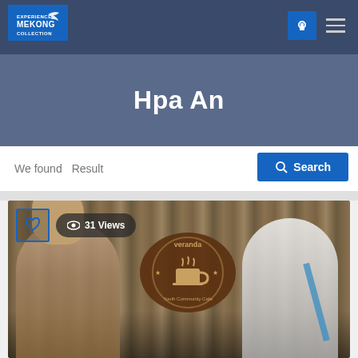EXPERIENCE MEKONG COLLECTION
Hpa An
We found   Result
Search
[Figure (photo): Two men posing in front of a Veranda Youth Community Cafe bamboo wall sign. Left person wears a tank top, right person wears white polo with blue strap. Overlay shows heart icon and 31 Views badge.]